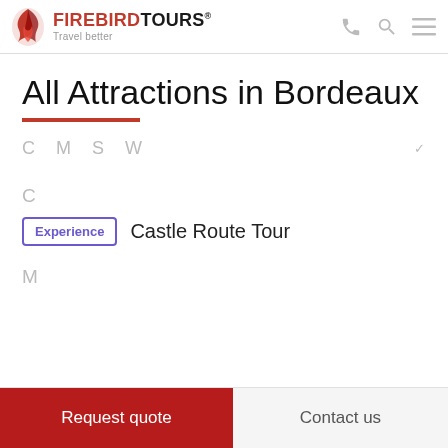FIREBIRD TOURS® Travel better
All Attractions in Bordeaux
C  M  S  W
C
Experience  Castle Route Tour
M
Request quote  Contact us